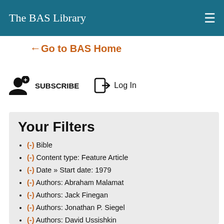The BAS Library
←Go to BAS Home
SUBSCRIBE  Log In
Your Filters
(-) Bible
(-) Content type: Feature Article
(-) Date » Start date: 1979
(-) Authors: Abraham Malamat
(-) Authors: Jack Finegan
(-) Authors: Jonathan P. Siegel
(-) Authors: David Ussishkin